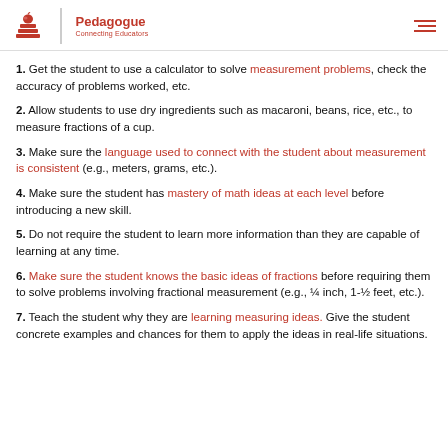Pedagogue — Connecting Educators
1. Get the student to use a calculator to solve measurement problems, check the accuracy of problems worked, etc.
2. Allow students to use dry ingredients such as macaroni, beans, rice, etc., to measure fractions of a cup.
3. Make sure the language used to connect with the student about measurement is consistent (e.g., meters, grams, etc.).
4. Make sure the student has mastery of math ideas at each level before introducing a new skill.
5. Do not require the student to learn more information than they are capable of learning at any time.
6. Make sure the student knows the basic ideas of fractions before requiring them to solve problems involving fractional measurement (e.g., ¼ inch, 1-½ feet, etc.).
7. Teach the student why they are learning measuring ideas. Give the student concrete examples and chances for them to apply the ideas in real-life situations.